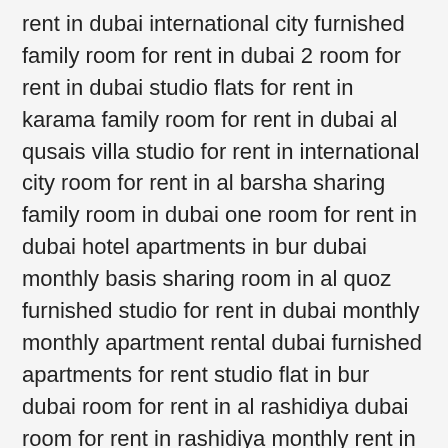rent in dubai international city furnished family room for rent in dubai 2 room for rent in dubai studio flats for rent in karama family room for rent in dubai al qusais villa studio for rent in international city room for rent in al barsha sharing family room in dubai one room for rent in dubai hotel apartments in bur dubai monthly basis sharing room in al quoz furnished studio for rent in dubai monthly monthly apartment rental dubai furnished apartments for rent studio flat in bur dubai room for rent in al rashidiya dubai room for rent in rashidiya monthly rent in dubai room for rent in international city cheap studio apartment in dubai for monthly rent daily room for rent in dubai room for rent in business bay metro family room for rent in al qusais family room in international city room partition dubizzle dubai dubai studio rentals monthly furnished apartments dubai studio flat in dubai monthly rent family room for rent in deira studios for rent in dubai rashidiya dubai room for rent room for rent in al nahda metro station private room for rent in dubai cheap studio apartment in dubai for rent studio for rent in silicon oasis rooms